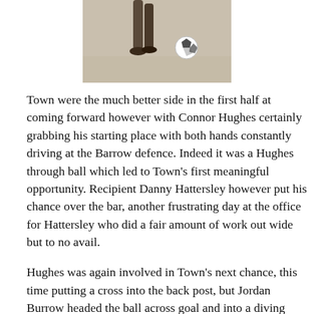[Figure (photo): A football player's legs and feet on a sandy pitch, dribbling a white football]
Town were the much better side in the first half at coming forward however with Connor Hughes certainly grabbing his starting place with both hands constantly driving at the Barrow defence. Indeed it was a Hughes through ball which led to Town's first meaningful opportunity. Recipient Danny Hattersley however put his chance over the bar, another frustrating day at the office for Hattersley who did a fair amount of work out wide but to no avail.
Hughes was again involved in Town's next chance, this time putting a cross into the back post, but Jordan Burrow headed the ball across goal and into a diving Joel Dixon's gloves. Debutant and Halifax-born Danny Racchi put in a positive performance breaking up a lot of play in midfield